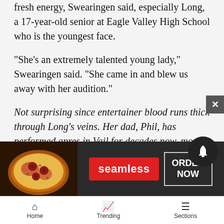fresh energy, Swearingen said, especially Long, a 17-year-old senior at Eagle Valley High School who is the youngest face.
“She’s an extremely talented young lady,” Swearingen said. “She came in and blew us away with her audition.”
Not surprising since entertainer blood runs thick through Long’s veins. Her dad, Phil, has performed apres in Vail for decades now, most recently at Shakedown Bar in Vail Village, and Long has plenty of experience singing with dad, doing private shows and performing on stage in Vail Village as well.
“I’ve been singing before I could even talk almost,” she said.
Thoug... and plans t... ong’s
[Figure (screenshot): Seamless food delivery advertisement banner with pizza image on left, seamless red logo in center, and ORDER NOW button on right, overlaid on article content]
Home   Trending   Sections